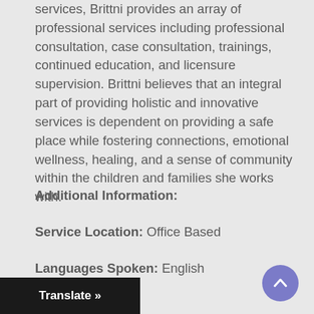services, Brittni provides an array of professional services including professional consultation, case consultation, trainings, continued education, and licensure supervision. Brittni believes that an integral part of providing holistic and innovative services is dependent on providing a safe place while fostering connections, emotional wellness, healing, and a sense of community within the children and families she works with.
Additional Information:
Service Location: Office Based
Languages Spoken: English
Practice Focus:
Young Child (0-5)
School Age (6-12)